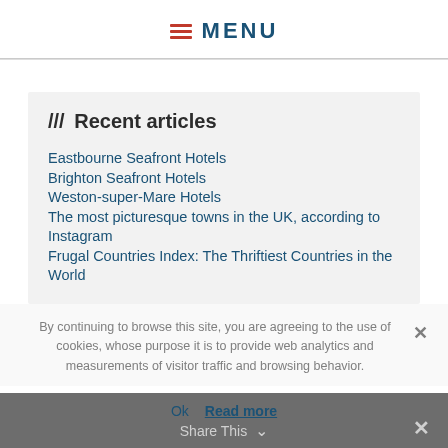≡ MENU
/// Recent articles
Eastbourne Seafront Hotels
Brighton Seafront Hotels
Weston-super-Mare Hotels
The most picturesque towns in the UK, according to Instagram
Frugal Countries Index: The Thriftiest Countries in the World
By continuing to browse this site, you are agreeing to the use of cookies, whose purpose it is to provide web analytics and measurements of visitor traffic and browsing behavior.
Ok  Read more
Share This  ✕